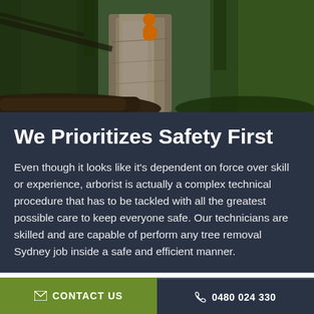[Figure (photo): Arborist worker in orange gear climbing or working on a steep rocky cliff face surrounded by dense green pine trees, with a large fallen log in the foreground on the left side.]
We Prioritizes Safety First
Even though it looks like it’s dependent on force over skill or experience, arborist is actually a complex technical procedure that has to be tackled with all the greatest possible care to keep everyone safe. Our technicians are skilled and are capable of perform any tree removal Sydney job inside a safe and efficient manner.
✉ CONTACT US   ☎ 0480 024 330